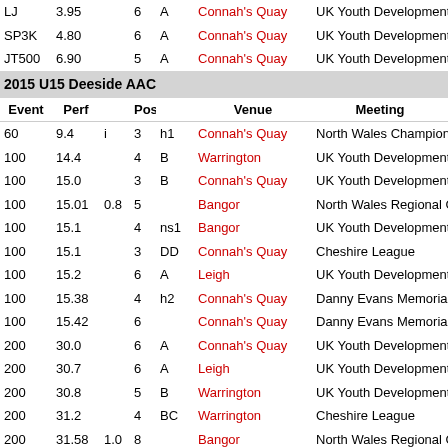| Event | Perf |  | Pos |  | Venue | Meeting |
| --- | --- | --- | --- | --- | --- | --- |
| LJ | 3.95 |  | 6 | A | Connah's Quay | UK Youth Development U17/ |
| SP3K | 4.80 |  | 6 | A | Connah's Quay | UK Youth Development U17/ |
| JT500 | 6.90 |  | 5 | A | Connah's Quay | UK Youth Development U17/ |
2015 U15 Deeside AAC
| Event | Perf |  | Pos |  | Venue | Meeting |
| --- | --- | --- | --- | --- | --- | --- |
| 60 | 9.4 | i | 3 | h1 | Connah's Quay | North Wales Championships |
| 100 | 14.4 |  | 4 | B | Warrington | UK Youth Development U13/ |
| 100 | 15.0 |  | 3 | B | Connah's Quay | UK Youth Development U13/ |
| 100 | 15.01 | 0.8 | 5 |  | Bangor | North Wales Regional Champ |
| 100 | 15.1 |  | 4 | ns1 | Bangor | UK Youth Development U13/ |
| 100 | 15.1 |  | 3 | DD | Connah's Quay | Cheshire League |
| 100 | 15.2 |  | 6 | A | Leigh | UK Youth Development U13/ |
| 100 | 15.38 |  | 4 | h2 | Connah's Quay | Danny Evans Memorial Meet |
| 100 | 15.42 |  | 6 |  | Connah's Quay | Danny Evans Memorial Meet |
| 200 | 30.0 |  | 6 | A | Connah's Quay | UK Youth Development U13/ |
| 200 | 30.7 |  | 6 | A | Leigh | UK Youth Development U13/ |
| 200 | 30.8 |  | 5 | B | Warrington | UK Youth Development U13/ |
| 200 | 31.2 |  | 4 | BC | Warrington | Cheshire League |
| 200 | 31.58 | 1.0 | 8 |  | Bangor | North Wales Regional Champ |
| 200 | 32.00 |  | 3 | h2 | Connah's Quay | Danny Evans Memorial Meet |
| 200 | 33.08 |  | 7 |  | Connah's Quay | Danny Evans Memorial Meet |
| LJ | 4.04 |  | 6 | A | Leigh | UK Youth Development U13/ |
| LJ | 4.01 |  | 6 | A | Connah's Quay | UK Youth Development U13/ |
| LJ | 3.96 |  | 8 | A | Warrington | Cheshire League |
| LJ | 3.76 |  | 5 |  | Bangor | North Wales Regional Champ |